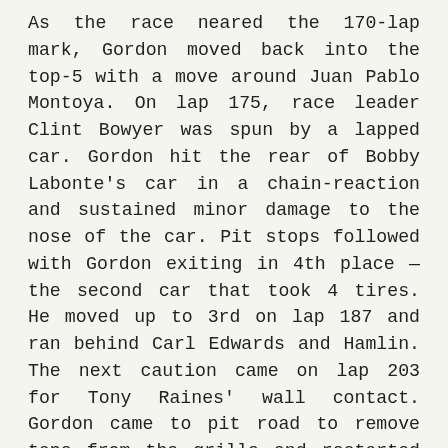As the race neared the 170-lap mark, Gordon moved back into the top-5 with a move around Juan Pablo Montoya. On lap 175, race leader Clint Bowyer was spun by a lapped car. Gordon hit the rear of Bobby Labonte's car in a chain-reaction and sustained minor damage to the nose of the car. Pit stops followed with Gordon exiting in 4th place — the second car that took 4 tires. He moved up to 3rd on lap 187 and ran behind Carl Edwards and Hamlin. The next caution came on lap 203 for Tony Raines' wall contact. Gordon came to pit road to remove tape from the grille and restarted in 20th place. He used the high line and took 15th from Joey Logano on lap 223. As the event neared the halfway point, Gordon took 13th from Almirola and 12th from Kasey Kahne. He re-entered the top-10 at the halfway mark by...